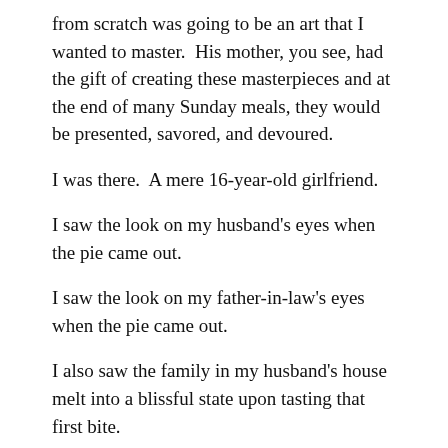from scratch was going to be an art that I wanted to master. His mother, you see, had the gift of creating these masterpieces and at the end of many Sunday meals, they would be presented, savored, and devoured.
I was there.  A mere 16-year-old girlfriend.
I saw the look on my husband's eyes when the pie came out.
I saw the look on my father-in-law's eyes when the pie came out.
I also saw the family in my husband's house melt into a blissful state upon tasting that first bite.
And, I saw the love that radiated around the table.